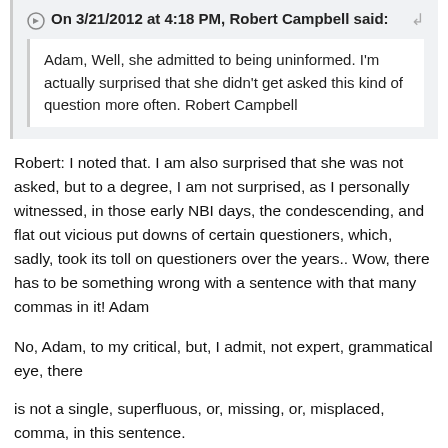On 3/21/2012 at 4:18 PM, Robert Campbell said:
Adam, Well, she admitted to being uninformed. I'm actually surprised that she didn't get asked this kind of question more often. Robert Campbell
Robert: I noted that. I am also surprised that she was not asked, but to a degree, I am not surprised, as I personally witnessed, in those early NBI days, the condescending, and flat out vicious put downs of certain questioners, which, sadly, took its toll on questioners over the years.. Wow, there has to be something wrong with a sentence with that many commas in it! Adam
No, Adam, to my critical, but, I admit, not expert, grammatical eye, there
is not a single, superfluous, or, missing, or, misplaced, comma, in this sentence.
Keep up the good work.